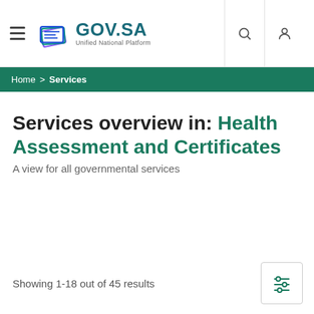[Figure (logo): GOV.SA Unified National Platform logo with stylized layered card icon in blue/purple/teal]
Home > Services
Services overview in: Health Assessment and Certificates
A view for all governmental services
Showing 1-18 out of 45 results